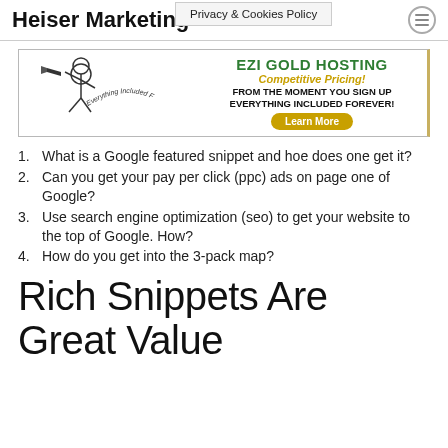Heiser Marketing
Privacy & Cookies Policy
[Figure (illustration): EZI Gold Hosting advertisement banner with a cartoon man with megaphone and text 'Everything Included Forever!', 'EZI GOLD HOSTING', 'Competitive Pricing!', 'FROM THE MOMENT YOU SIGN UP EVERYTHING INCLUDED FOREVER!', 'Learn More' button]
What is a Google featured snippet and hoe does one get it?
Can you get your pay per click (ppc) ads on page one of Google?
Use search engine optimization (seo) to get your website to the top of Google. How?
How do you get into the 3-pack map?
Rich Snippets Are Great Value